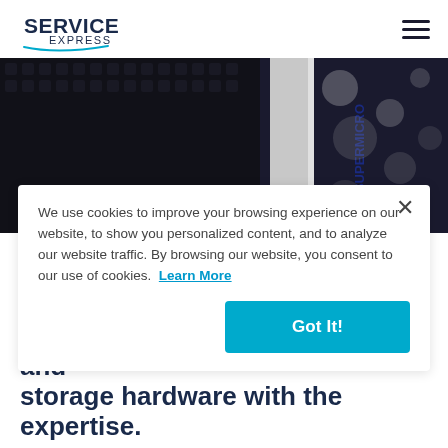Service Express
[Figure (photo): Close-up photo of a Supermicro server hardware unit in a dark server rack environment]
We use cookies to improve your browsing experience on our website, to show you personalized content, and to analyze our website traffic. By browsing our website, you consent to our use of cookies. Learn More
Got It!
from your Supermicro server and storage hardware with the expertise.